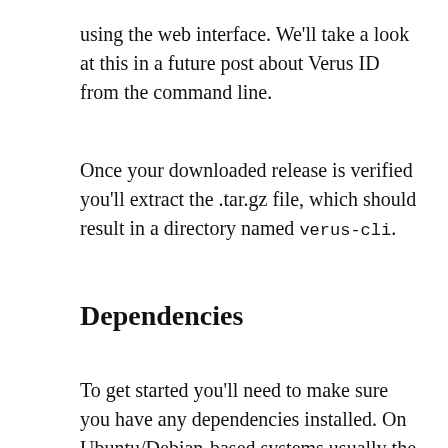using the web interface. We'll take a look at this in a future post about Verus ID from the command line.
Once your downloaded release is verified you'll extract the .tar.gz file, which should result in a directory named verus-cli.
Dependencies
To get started you'll need to make sure you have any dependencies installed. On Ubuntu/Debian-based systems usually the only item needed is libgomp1, which can be installed using: